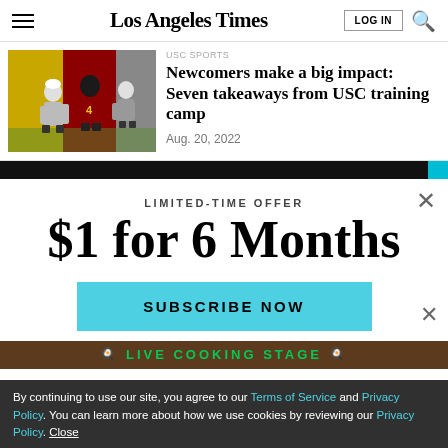Los Angeles Times — LOG IN | Search
[Figure (photo): USC football players on field during training camp practice, player #4 in maroon jersey visible]
Newcomers make a big impact: Seven takeaways from USC training camp
Aug. 20, 2022
LIMITED-TIME OFFER
$1 for 6 Months
SUBSCRIBE NOW
By continuing to use our site, you agree to our Terms of Service and Privacy Policy. You can learn more about how we use cookies by reviewing our Privacy Policy. Close